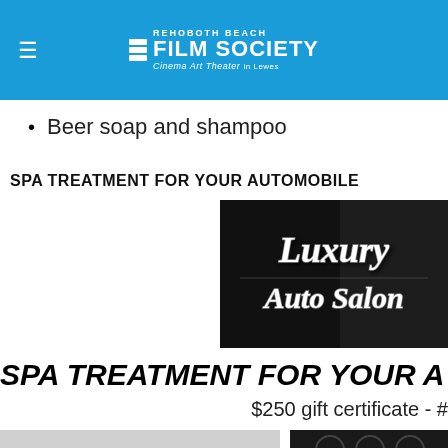REHOBOTH BEACH FILM SOCIETY Cinema Art Theater in Lewes
Beer soap and shampoo
SPA TREATMENT FOR YOUR AUTOMOBILE
[Figure (logo): Luxury Auto Salon logo — white script text on black background]
SPA TREATMENT FOR YOUR A
$250 gift certificate - #
[Figure (photo): Yellow Ford Mustang sports car on checkered floor]
[Figure (photo): Car interior showing steering wheel and dashboard]